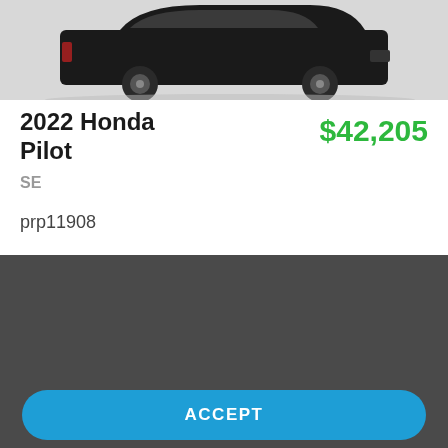[Figure (photo): Partial view of a dark-colored Honda Pilot SUV seen from slightly above rear angle, against a light gray background]
2022 Honda Pilot
$42,205
SE
prp11908
We use cookies and browser activity to improve your experience, personalize content and ads, and analyze how our sites are used. For more information, view our Privacy Policy.
ACCEPT